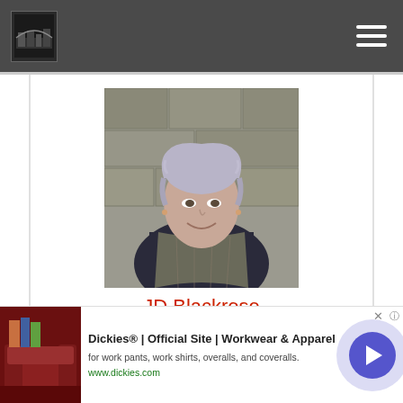[Navigation bar with logo and hamburger menu]
[Figure (photo): Portrait photo of JD Blackrose, a woman with short lavender/gray hair smiling, photographed against a stone wall background]
JD Blackrose
J.D. Blackrose loves all things storytelling and celebrates great writing by posting about it on her website, www.slipperywords.com. She lives perpetually concerned that people will discover how often she thinks about wicked fairies, homicidal elevators, and...
[Figure (screenshot): NO COMPATIBLE SOURCE WAS FOUND FOR THIS MEDIA. - media player error message overlay]
[Figure (screenshot): Advertisement banner: Dickies | Official Site | Workwear & Apparel - for work pants, work shirts, overalls, and coveralls. www.dickies.com]